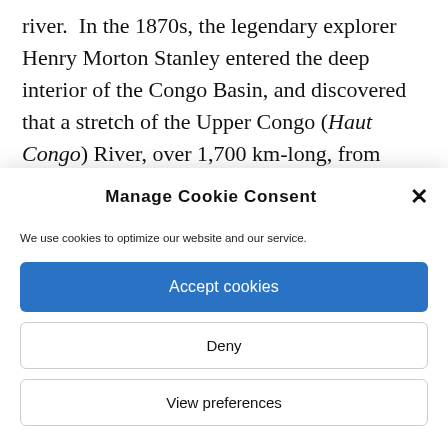river. In the 1870s, the legendary explorer Henry Morton Stanley entered the deep interior of the Congo Basin, and discovered that a stretch of the Upper Congo (Haut Congo) River, over 1,700 km-long, from what would become Léopoldville (Kinshasa) to Stanleyville, was navigable, and
Manage Cookie Consent
We use cookies to optimize our website and our service.
Accept cookies
Deny
View preferences